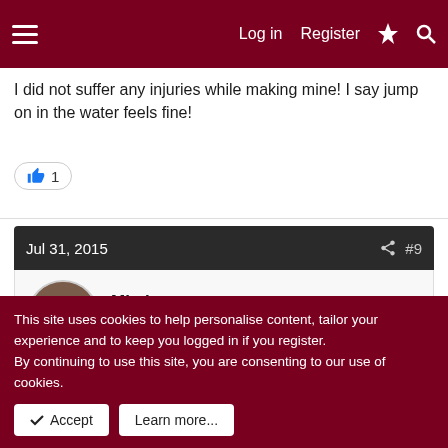Log in  Register
I did not suffer any injuries while making mine! I say jump on in the water feels fine!
Jul 31, 2015  #9
Mimi
Established Member  Beta Tester  New Member
It has been sitting on my workdesk mocking me. But, I can't start it until I finish at least one of the two matching cuffs I am working on (wedding prezzie for Oct).
This site uses cookies to help personalise content, tailor your experience and to keep you logged in if you register.
By continuing to use this site, you are consenting to our use of cookies.
Accept  Learn more...